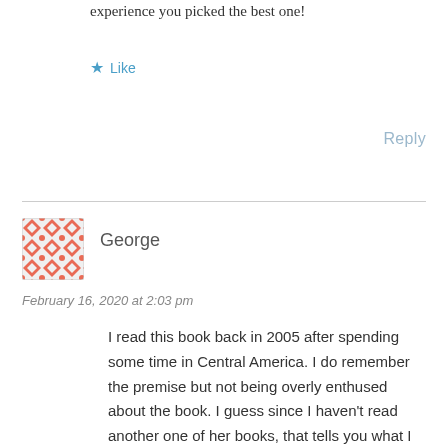experience you picked the best one!
Like
Reply
George
February 16, 2020 at 2:03 pm
I read this book back in 2005 after spending some time in Central America. I do remember the premise but not being overly enthused about the book. I guess since I haven't read another one of her books, that tells you what I thought of it